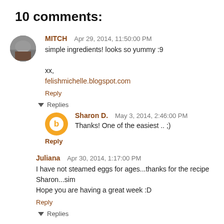10 comments:
MITCH  Apr 29, 2014, 11:50:00 PM
simple ingredients! looks so yummy :9

xx,
felishmichelle.blogspot.com

Reply
Replies
Sharon D.  May 3, 2014, 2:46:00 PM
Thanks! One of the easiest .. ;)
Reply
Juliana  Apr 30, 2014, 1:17:00 PM
I have not steamed eggs for ages...thanks for the recipe Sharon...sim
Hope you are having a great week :D
Reply
Replies